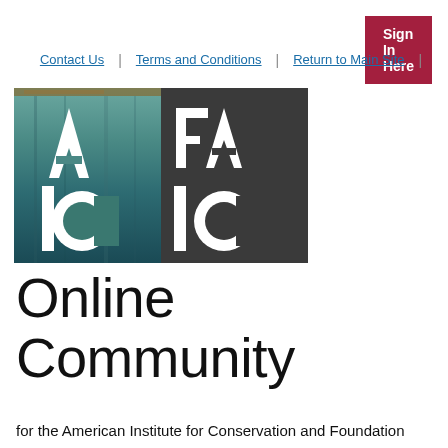Sign In Here
Contact Us | Terms and Conditions | Return to Main Site
[Figure (logo): AIC and FAIC logos side by side. Left half: teal/blue painted texture background with white stylized AIC letters (A above, IC below with circular O). Right half: dark gray background with white stylized FAIC letters (FA above, IC below with circular O).]
Online Community
for the American Institute for Conservation and Foundation